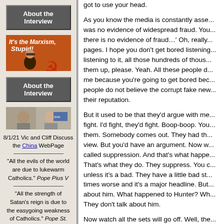About the Interview
[Figure (illustration): Image with text 'It's the Marxism, Stupid!' and a person with hammer and sickle symbol on orange/brown background]
About the Interview
[Figure (photo): Two men in a video call/interview screenshot]
8/1/21 Vic and Cliff Discuss the China WebPage
"All the evils of the world are due to lukewarm Catholics." Pope Pius V
"All the strength of Satan's reign is due to the easygoing weakness of Catholics." Pope St.
got to use your head.

As you know the media is constantly asse... was no evidence of widespread fraud. You... there is no evidence of fraud...' Oh, really... pages. I hope you don't get bored listening... listening to it, all those hundreds of thous... them up, please. Yeah. All these people d... me because you're going to get bored bec... people do not believe the corrupt fake new... their reputation.

But it used to be that they'd argue with me... fight. I'd fight, they'd fight. Boop-boop. You... them. Somebody comes out. They had th... view. But you'd have an argument. Now w... called suppression. And that's what happe... That's what they do. They suppress. You... unless it's a bad. They have a little bad st... times worse and it's a major headline. But... about him. What happened to Hunter? Wh... They don't talk about him.

Now watch all the sets will go off. Well, the... good ratings. The ratings are too good. No... come Joe was allowed to give a billion do... prosecutor in Ukraine? How does that hap... How does that happen? Can you imagine... would be a whole different ball game. And... and a half million dollars from the Mayo...